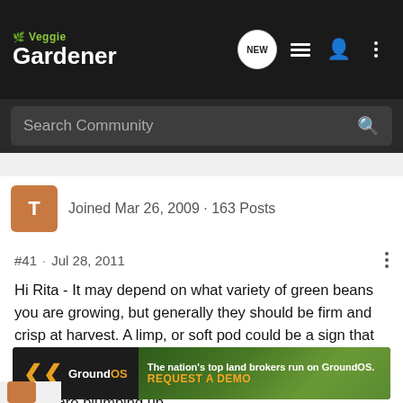Veggie Gardener
Search Community
Joined Mar 26, 2009 · 163 Posts
#41 · Jul 28, 2011
Hi Rita - It may depend on what variety of green beans you are growing, but generally they should be firm and crisp at harvest. A limp, or soft pod could be a sign that they are a little over ripe, especially if they are bulging some on the sides, which is a signal that the beans inside are plumping up.

Try to harvest them a bit sooner and see if they are firmer.
[Figure (other): GroundOS advertisement banner: The nation's top land brokers run on GroundOS. REQUEST A DEMO]